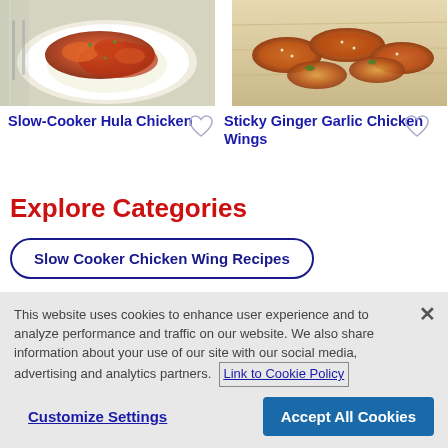[Figure (photo): Photo of Slow-Cooker Hula Chicken dish with orange-red sauce over white rice on a plate]
[Figure (photo): Photo of Sticky Ginger Garlic Chicken Wings on a wooden cutting board]
Slow-Cooker Hula Chicken
Sticky Ginger Garlic Chicken Wings
Explore Categories
Slow Cooker Chicken Wing Recipes
This website uses cookies to enhance user experience and to analyze performance and traffic on our website. We also share information about your use of our site with our social media, advertising and analytics partners.
Link to Cookie Policy
Customize Settings
Accept All Cookies